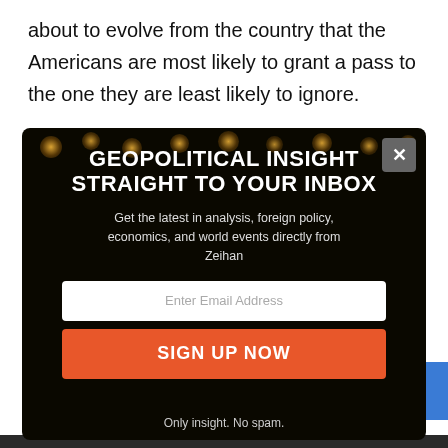about to evolve from the country that the Americans are most likely to grant a pass to the one they are least likely to ignore.
After all, Canada is different.
[Figure (screenshot): Email newsletter signup modal with dark background showing bokeh lights. Headline: GEOPOLITICAL INSIGHT STRAIGHT TO YOUR INBOX. Subtext: Get the latest in analysis, foreign policy, economics, and world events directly from Zeihan. Email input field and orange SIGN UP NOW button. Footer: Only insight. No spam.]